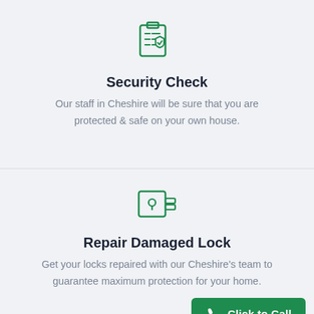[Figure (illustration): Green outline icon of a clipboard with a checklist and a security shield badge]
Security Check
Our staff in Cheshire will be sure that you are protected & safe on your own house.
[Figure (illustration): Green outline icon of a door lock with a keyhole]
Repair Damaged Lock
Get your locks repaired with our Cheshire's team to guarantee maximum protection for your home.
Click to Call